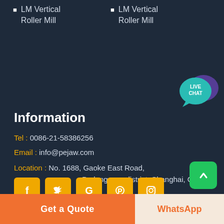LM Vertical Roller Mill
LM Vertical Roller Mill
[Figure (illustration): Live chat speech bubble icon in teal/purple]
Information
Tel : 0086-21-58386256
Email : info@pejaw.com
Location : No. 1688, Gaoke East Road, Pudong new district, Shanghai, China.
[Figure (illustration): Social media icons row: Facebook, Twitter, Google, Pinterest, Instagram — yellow square buttons]
Get a Quote
WhatsApp